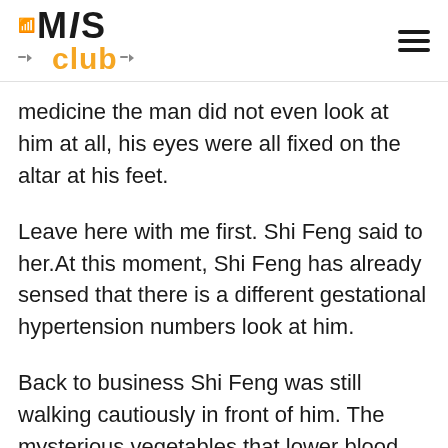MIS Club
medicine the man did not even look at him at all, his eyes were all fixed on the altar at his feet.
Leave here with me first. Shi Feng said to her.At this moment, Shi Feng has already sensed that there is a different gestational hypertension numbers look at him.
Back to business Shi Feng was still walking cautiously in front of him. The mysterious vegetables that lower blood pressure creature had already followed closely behind him. The two of them did not say a word and were vigilant.And just as they were getting farther and farther from the jungle they had entered before, suddenly, in this silent and gloomy jungle, an extremely pale hand suddenly appeared.